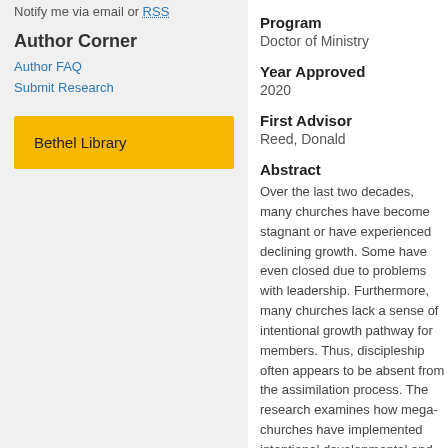Notify me via email or RSS
Author Corner
Author FAQ
Submit Research
Bethel Library
Program
Doctor of Ministry
Year Approved
2020
First Advisor
Reed, Donald
Abstract
Over the last two decades, many churches have become stagnant or have experienced declining growth. Some have even closed due to problems with leadership. Furthermore, many churches lack a sense of intentional growth pathway for members. Thus, discipleship often appears to be absent from the assimilation process. The research examines how mega-churches have implemented intentional developmental and missional discipleship and how it might be integrated into smaller churches similar to these mega-churches. The researcher explores Jesus and his followers' model of discipleship in the books of Matthew, Luke, and John, reviews a body of literature focusing on relational and intentional aspects of discipleship